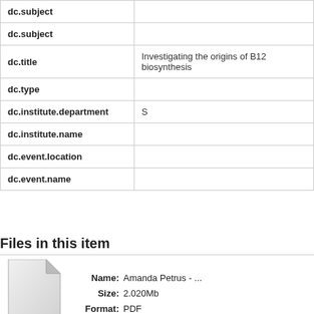| Field | Value |
| --- | --- |
| dc.subject |  |
| dc.subject |  |
| dc.title | Investigating the origins of B12 biosynthesis |
| dc.type |  |
| dc.institute.department | S |
| dc.institute.name |  |
| dc.event.location |  |
| dc.event.name |  |
Files in this item
[Figure (illustration): Generic document/file icon (white page with folded corner)]
Name: Amanda Petrus - ...  Size: 2.020Mb  Format: PDF
View/O